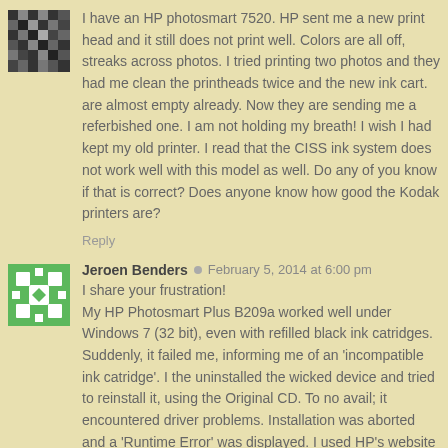I have an HP photosmart 7520. HP sent me a new print head and it still does not print well. Colors are all off, streaks across photos. I tried printing two photos and they had me clean the printheads twice and the new ink cart. are almost empty already. Now they are sending me a referbished one. I am not holding my breath! I wish I had kept my old printer. I read that the CISS ink system does not work well with this model as well. Do any of you know if that is correct? Does anyone know how good the Kodak printers are?
Reply
Jeroen Benders   February 5, 2014 at 6:00 pm
I share your frustration!
My HP Photosmart Plus B209a worked well under Windows 7 (32 bit), even with refilled black ink catridges. Suddenly, it failed me, informing me of an 'incompatible ink catridge'. I the uninstalled the wicked device and tried to reinstall it, using the Original CD. To no avail; it encountered driver problems. Installation was aborted and a 'Runtime Error' was displayed. I used HP's website wizard to reinstall: same problem regarding the cartridge.